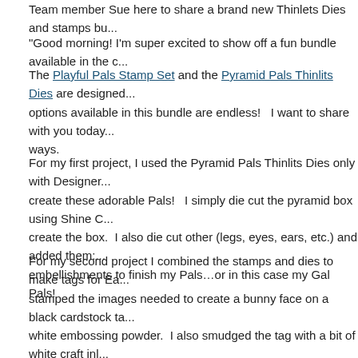Team member Sue here to share a brand new Thinlets Dies and stamps bu...
"Good morning! I'm super excited to show off a fun bundle available in the c...
The Playful Pals Stamp Set and the Pyramid Pals Thinlits Dies are designed... options available in this bundle are endless!   I want to share with you today... ways.
For my first project, I used the Pyramid Pals Thinlits Dies only with Designer... create these adorable Pals!   I simply die cut the pyramid box using Shine C... create the box.  I also die cut other (legs, eyes, ears, etc.) and added them:... embellishments to finish my Pals…or in this case my Gal Pals!
For my second project I combined the stamps and dies to make tags for Ea... stamped the images needed to create a bunny face on a black cardstock ta... white embossing powder.  I also smudged the tag with a bit of white craft inl... those steps with the small bow/bow tie image and die and added them to th... each tag and attached the tags to the mini treat bags.